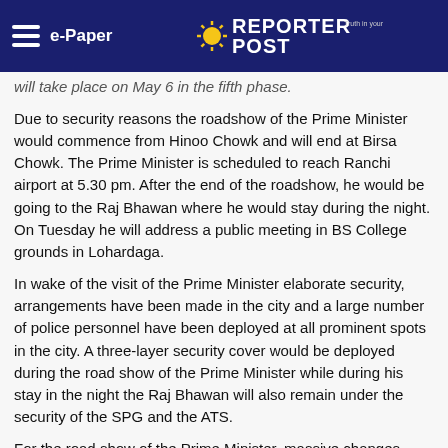e-Paper | Reporter Post
will take place on May 6 in the fifth phase.
Due to security reasons the roadshow of the Prime Minister would commence from Hinoo Chowk and will end at Birsa Chowk. The Prime Minister is scheduled to reach Ranchi airport at 5.30 pm. After the end of the roadshow, he would be going to the Raj Bhawan where he would stay during the night. On Tuesday he will address a public meeting in BS College grounds in Lohardaga.
In wake of the visit of the Prime Minister elaborate security, arrangements have been made in the city and a large number of police personnel have been deployed at all prominent spots in the city. A three-layer security cover would be deployed during the road show of the Prime Minister while during his stay in the night the Raj Bhawan will also remain under the security of the SPG and the ATS.
For the road show of the Prime Minister, massive changes have been made in the traffic route in the capital. No vehicles would be allowed to operate on the VIP road which runs from Raj Bhawan to Birsa Chowk while jawans of the traffic police will be deployed at all the cuts to prevent any person or vehicle from trespassing.
Trending Video